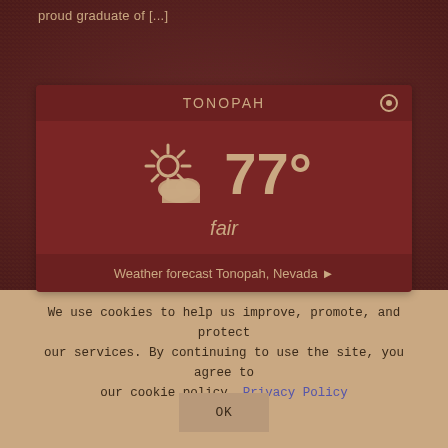proud graduate of [...]
[Figure (infographic): Weather widget showing TONOPAH location with partly cloudy sun icon, temperature 77°, condition 'fair', and a link to 'Weather forecast Tonopah, Nevada ►']
We use cookies to help us improve, promote, and protect our services. By continuing to use the site, you agree to our cookie policy. Privacy Policy
OK